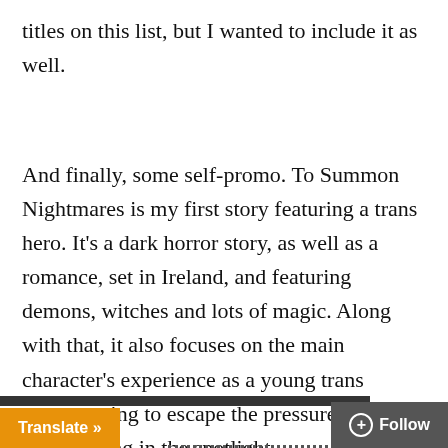titles on this list, but I wanted to include it as well.
And finally, some self-promo. To Summon Nightmares is my first story featuring a trans hero. It's a dark horror story, as well as a romance, set in Ireland, and featuring demons, witches and lots of magic. Along with that, it also focuses on the main character's experience as a young trans person trying to escape the pressure of transitioning in the spotlight.